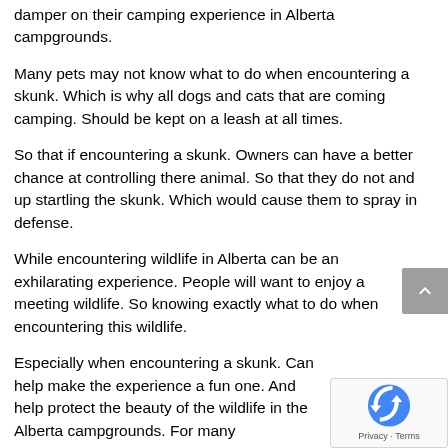damper on their camping experience in Alberta campgrounds.
Many pets may not know what to do when encountering a skunk. Which is why all dogs and cats that are coming camping. Should be kept on a leash at all times.
So that if encountering a skunk. Owners can have a better chance at controlling there animal. So that they do not and up startling the skunk. Which would cause them to spray in defense.
While encountering wildlife in Alberta can be an exhilarating experience. People will want to enjoy a meeting wildlife. So knowing exactly what to do when encountering this wildlife.
Especially when encountering a skunk. Can help make the experience a fun one. And help protect the beauty of the wildlife in the Alberta campgrounds. For many